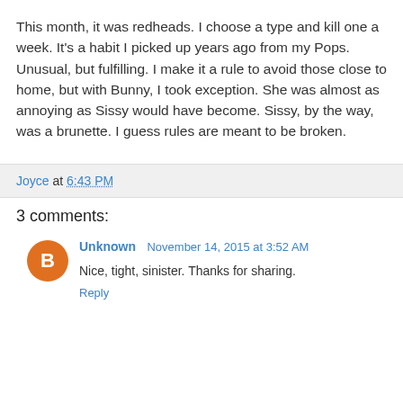This month, it was redheads. I choose a type and kill one a week. It's a habit I picked up years ago from my Pops. Unusual, but fulfilling. I make it a rule to avoid those close to home, but with Bunny, I took exception. She was almost as annoying as Sissy would have become. Sissy, by the way, was a brunette. I guess rules are meant to be broken.
Joyce at 6:43 PM
3 comments:
Unknown November 14, 2015 at 3:52 AM
Nice, tight, sinister. Thanks for sharing.
Reply